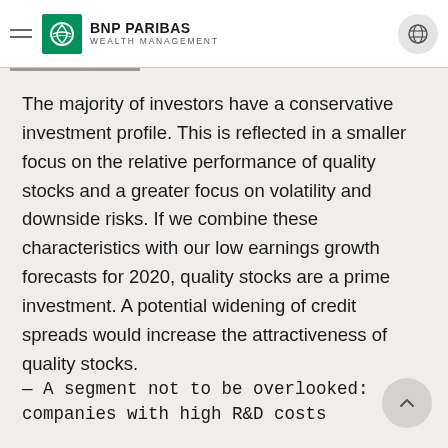BNP PARIBAS WEALTH MANAGEMENT
The majority of investors have a conservative investment profile. This is reflected in a smaller focus on the relative performance of quality stocks and a greater focus on volatility and downside risks. If we combine these characteristics with our low earnings growth forecasts for 2020, quality stocks are a prime investment. A potential widening of credit spreads would increase the attractiveness of quality stocks.
— A segment not to be overlooked: companies with high R&D costs